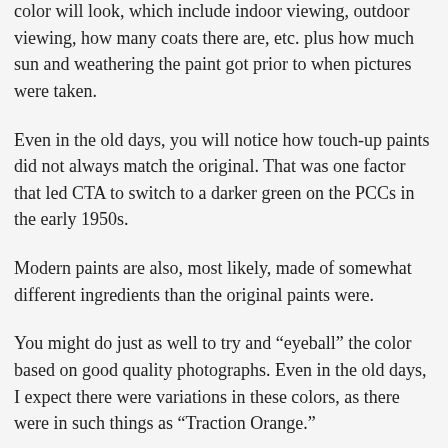color will look, which include indoor viewing, outdoor viewing, how many coats there are, etc. plus how much sun and weathering the paint got prior to when pictures were taken.
Even in the old days, you will notice how touch-up paints did not always match the original. That was one factor that led CTA to switch to a darker green on the PCCs in the early 1950s.
Modern paints are also, most likely, made of somewhat different ingredients than the original paints were.
You might do just as well to try and “eyeball” the color based on good quality photographs. Even in the old days, I expect there were variations in these colors, as there were in such things as “Traction Orange.”
I recall hearing a story that there was a heated argument out at IRM between some people who were wrangling over what constituted Traction Orange. Finally, they consulted an old-timer who told them that it was simply whatever was on sale at the paint store at that particular time.